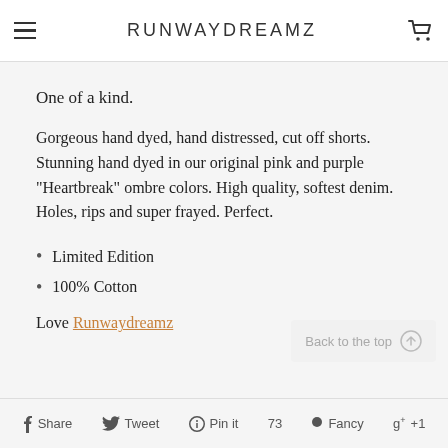RUNWAYDREAMZ
One of a kind.
Gorgeous hand dyed, hand distressed, cut off shorts. Stunning hand dyed in our original pink and purple "Heartbreak" ombre colors. High quality, softest denim. Holes, rips and super frayed. Perfect.
Limited Edition
100% Cotton
Love Runwaydreamz
Share  Tweet  Pin it  73  Fancy  +1